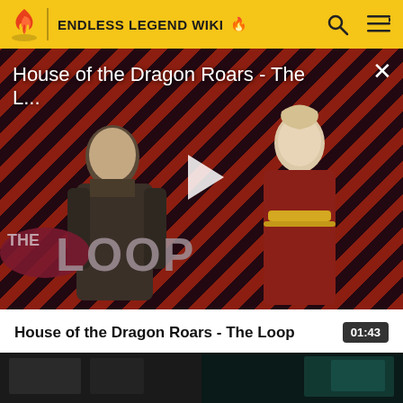ENDLESS LEGEND WIKI
[Figure (screenshot): Video player overlay showing 'House of the Dragon Roars - The L...' with a play button, diagonal red and black stripe background, two characters from House of the Dragon, and THE LOOP logo in the lower left. A close (X) button appears in the upper right.]
House of the Dragon Roars - The Loop  01:43
[Figure (screenshot): Thumbnail of a second video showing a dark room with multiple screens displaying game footage in teal/green tones.]